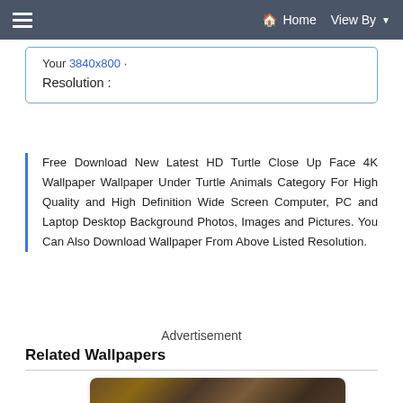≡   🏠 Home   View By ▼
Your 3840x800 ·
Resolution :
Free Download New Latest HD Turtle Close Up Face 4K Wallpaper Wallpaper Under Turtle Animals Category For High Quality and High Definition Wide Screen Computer, PC and Laptop Desktop Background Photos, Images and Pictures. You Can Also Download Wallpaper From Above Listed Resolution.
Advertisement
Related Wallpapers
[Figure (photo): Thumbnail image of a turtle close-up face photo, blurred brown and earth tones]